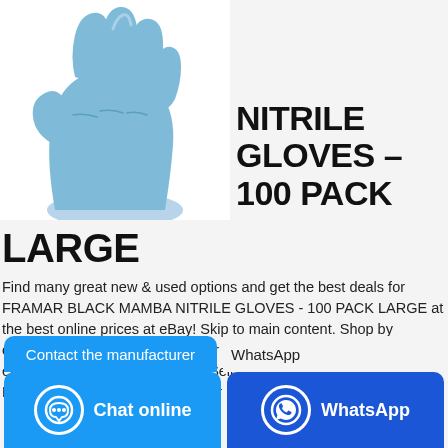[Figure (photo): Blue nitrile glove product photo against white background, showing a raised fist in a blue disposable glove]
NITRILE GLOVES – 100 PACK
LARGE
Find many great new & used options and get the best deals for FRAMAR BLACK MAMBA NITRILE GLOVES - 100 PACK LARGE at the best online prices at eBay! Skip to main content. Shop by category. Shop by category. Enter your search keyword. Advanced: eBay Deals; Find a Store; Help; Sell; Watch List Expand Watch list. Loading... Sign in to see your user ...
Contact the manufacturer
WhatsApp
Chat online
WhatsApp